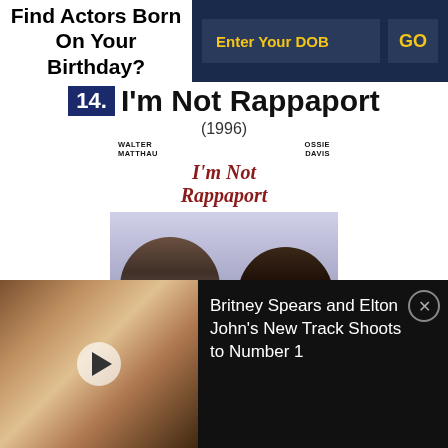Find Actors Born On Your Birthday?
Enter Your DOB
GO
14. I'm Not Rappaport
(1996)
[Figure (photo): Movie poster for I'm Not Rappaport (1996) featuring Walter Matthau and Ossie Davis, showing two elderly men on a park bench in front of a city skyline]
[Figure (photo): Photo of Britney Spears and Elton John with a play button overlay, used as a news thumbnail]
Britney Spears and Elton John's New Track Shoots to Number 1